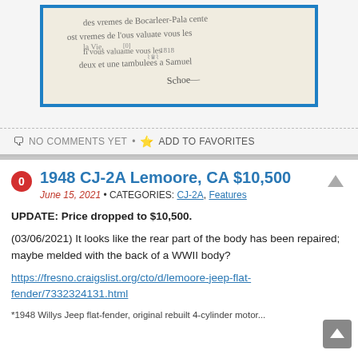[Figure (photo): Handwritten letter text inside a blue-bordered card on a cream background]
NO COMMENTS YET • ADD TO FAVORITES
1948 CJ-2A Lemoore, CA $10,500
June 15, 2021 • CATEGORIES: CJ-2A, Features
UPDATE: Price dropped to $10,500.
(03/06/2021) It looks like the rear part of the body has been repaired; maybe melded with the back of a WWII body?
https://fresno.craigslist.org/cto/d/lemoore-jeep-flat-fender/7332324131.html
*1948 Willys Jeep flat-fender, original rebuilt 4-cylinder motor